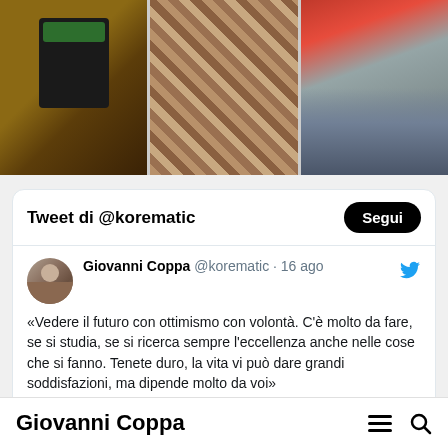[Figure (photo): Three photos in a horizontal strip: left shows a dark bottle on a wooden table, middle shows close-up of wood grain or bark texture in warm tones, right shows a rocky/earthy surface with blue accent.]
Tweet di @korematic
Segui
Giovanni Coppa @korematic · 16 ago
«Vedere il futuro con ottimismo con volontà. C'è molto da fare, se si studia, se si ricerca sempre l'eccellenza anche nelle cose che si fanno. Tenete duro, la vita vi può dare grandi soddisfazioni, ma dipende molto da voi»
#PieroAngela #inspiration #leadership
Giovanni Coppa